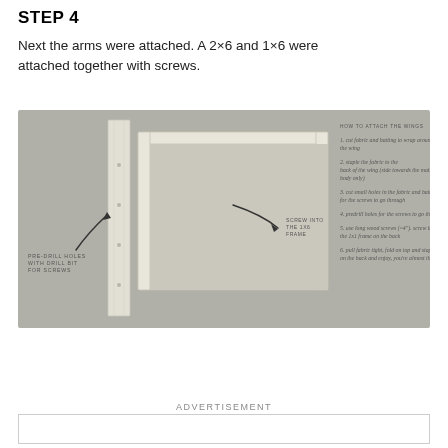STEP 4
Next the arms were attached. A 2×6 and 1×6 were attached together with screws.
[Figure (illustration): Engineering/craft diagram showing a wooden frame structure with a vertical 2x6 board next to a rectangular frame. Annotations include 'PRE-DRILL HOLES WITH DRILL BIT FOR SCREWS', 'SCREW INTO THE 1X6 FRAME', and a sidebar with handwritten instructions titled 'HOW TO ATTACH THE WINGS' listing 6 steps.]
ADVERTISEMENT